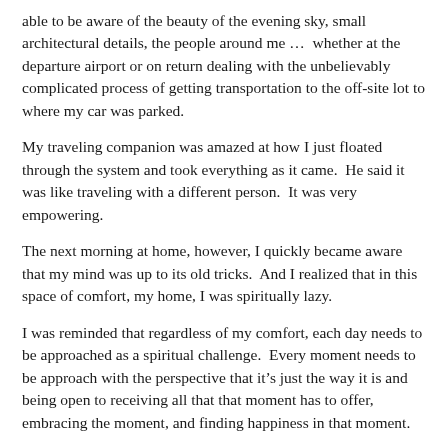able to be aware of the beauty of the evening sky, small architectural details, the people around me … whether at the departure airport or on return dealing with the unbelievably complicated process of getting transportation to the off-site lot to where my car was parked.
My traveling companion was amazed at how I just floated through the system and took everything as it came.  He said it was like traveling with a different person.  It was very empowering.
The next morning at home, however, I quickly became aware that my mind was up to its old tricks.  And I realized that in this space of comfort, my home, I was spiritually lazy.
I was reminded that regardless of my comfort, each day needs to be approached as a spiritual challenge.  Every moment needs to be approach with the perspective that it's just the way it is and being open to receiving all that that moment has to offer, embracing the moment, and finding happiness in that moment.
Not being enlightened, I have tried various methods to increase my awareness during the day which have worked to at least some